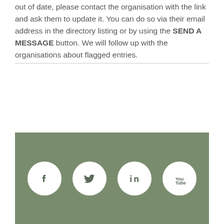out of date, please contact the organisation with the link and ask them to update it. You can do so via their email address in the directory listing or by using the SEND A MESSAGE button. We will follow up with the organisations about flagged entries.
[Figure (infographic): Muted green footer banner containing four white circular social media icons: Facebook, Twitter, LinkedIn, and YouTube.]